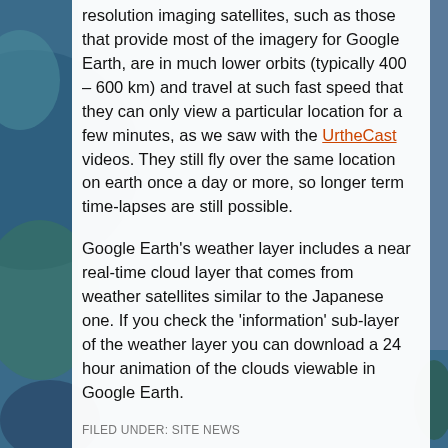resolution imaging satellites, such as those that provide most of the imagery for Google Earth, are in much lower orbits (typically 400 – 600 km) and travel at such fast speed that they can only view a particular location for a few minutes, as we saw with the UrtheCast videos. They still fly over the same location on earth once a day or more, so longer term time-lapses are still possible.
Google Earth's weather layer includes a near real-time cloud layer that comes from weather satellites similar to the Japanese one. If you check the 'information' sub-layer of the weather layer you can download a 24 hour animation of the clouds viewable in Google Earth.
FILED UNDER: SITE NEWS